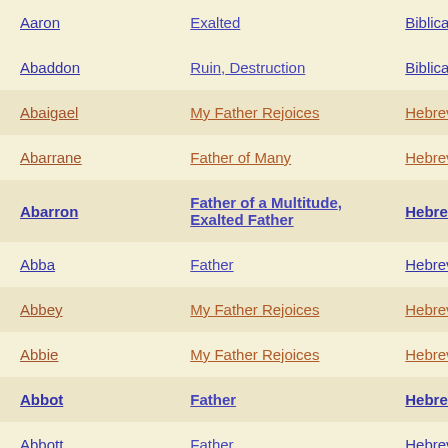| Name | Meaning | Origin |
| --- | --- | --- |
| Aaron | Exalted | Biblica... |
| Abaddon | Ruin, Destruction | Biblica... |
| Abaigael | My Father Rejoices | Hebrev... |
| Abarrane | Father of Many | Hebrev... |
| Abarron | Father of a Multitude, Exalted Father | Hebrev... |
| Abba | Father | Hebrev... |
| Abbey | My Father Rejoices | Hebrev... |
| Abbie | My Father Rejoices | Hebrev... |
| Abbot | Father | Hebrev... |
| Abbott | Father | Hebrev... |
| Abby | My Father Rejoices | Hebrev... |